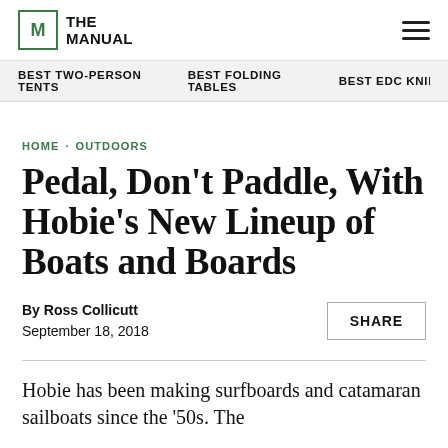THE MANUAL
BEST TWO-PERSON TENTS · BEST FOLDING TABLES · BEST EDC KNIFE
HOME · OUTDOORS
Pedal, Don't Paddle, With Hobie's New Lineup of Boats and Boards
By Ross Collicutt
September 18, 2018
SHARE
Hobie has been making surfboards and catamaran sailboats since the '50s. The